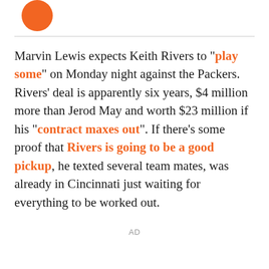[Figure (logo): Orange circular logo partially visible at top left]
Marvin Lewis expects Keith Rivers to "play some" on Monday night against the Packers. Rivers' deal is apparently six years, $4 million more than Jerod May and worth $23 million if his "contract maxes out". If there's some proof that Rivers is going to be a good pickup, he texted several team mates, was already in Cincinnati just waiting for everything to be worked out.
AD